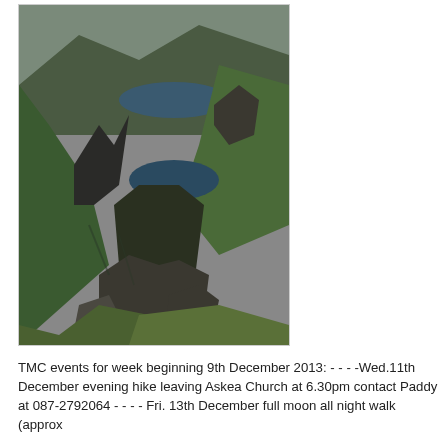[Figure (photo): Mountain landscape photograph taken from a high vantage point looking down into a valley with two lakes visible. Rocky ridges and green grassy slopes frame the view, with dark mountain terrain and overcast sky.]
TMC events for week beginning 9th December 2013: - - - -Wed.11th December evening hike leaving Askea Church at 6.30pm contact Paddy at 087-2792064 - - - - Fri. 13th December full moon all night walk (approx